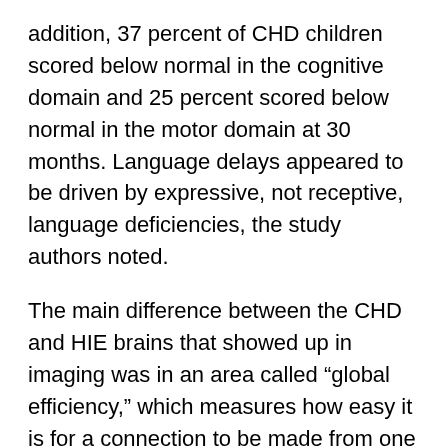addition, 37 percent of CHD children scored below normal in the cognitive domain and 25 percent scored below normal in the motor domain at 30 months. Language delays appeared to be driven by expressive, not receptive, language deficiencies, the study authors noted.
The main difference between the CHD and HIE brains that showed up in imaging was in an area called “global efficiency,” which measures how easy it is for a connection to be made from one area of the brain to the other. An efficient brain resembles a traffic system with an ideal balance of highways and local roads that take a driver where she needs to go quickly, McQuillen explained.
The researchers will continue to follow the babies in the study and were recently awarded a grant from The